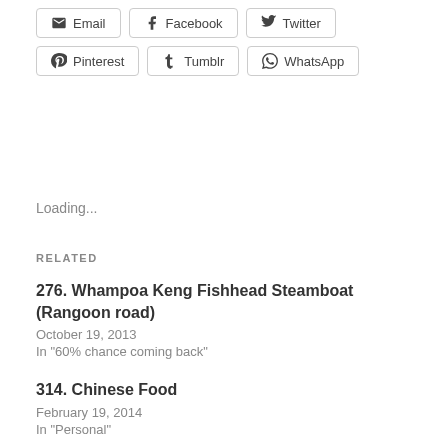Email
Facebook
Twitter
Pinterest
Tumblr
WhatsApp
Loading...
RELATED
276. Whampoa Keng Fishhead Steamboat (Rangoon road)
October 19, 2013
In "60% chance coming back"
314. Chinese Food
February 19, 2014
In "Personal"
490. Nan Hwa Chong Fish Head Steamboat
March 17, 2015
In "40% chance coming back"